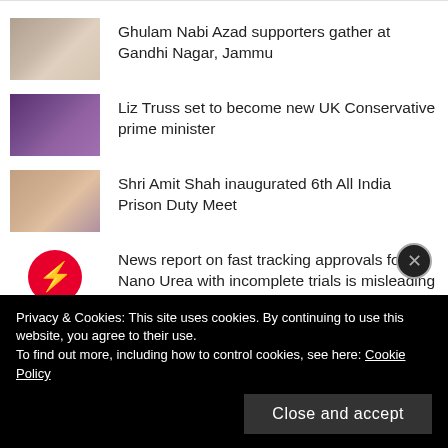Ghulam Nabi Azad supporters gather at Gandhi Nagar, Jammu
Liz Truss set to become new UK Conservative prime minister
Shri Amit Shah inaugurated 6th All India Prison Duty Meet
News report on fast tracking approvals for Nano Urea with incomplete trials is misleading
Jammu Lawyers to intensify strike to twist the Government
Former Tata Sons chair Cyrus Mistry dies in road
Privacy & Cookies: This site uses cookies. By continuing to use this website, you agree to their use.
To find out more, including how to control cookies, see here: Cookie Policy
Close and accept